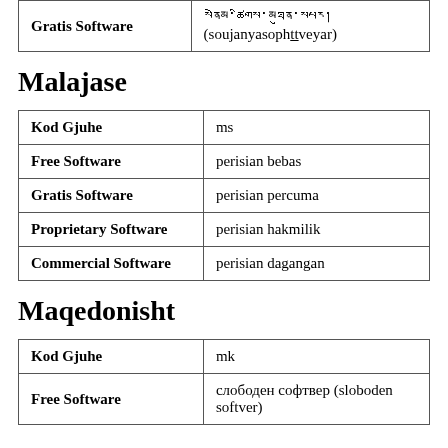| Gratis Software | སྣེམ་ཚིགས་མཐུན་སྤྱོད་ (soujanyasophṭṭveyar) |
Malajase
| Kod Gjuhe | ms |
| Free Software | perisian bebas |
| Gratis Software | perisian percuma |
| Proprietary Software | perisian hakmilik |
| Commercial Software | perisian dagangan |
Maqedonisht
| Kod Gjuhe | mk |
| Free Software | слободен софтвер (sloboden softver) |